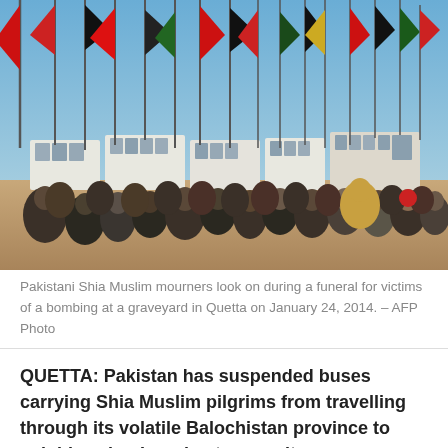[Figure (photo): Pakistani Shia Muslim mourners sitting on the ground at a graveyard in Quetta, with numerous red, black, and green flags in the background and framed photos of victims displayed on white structures.]
Pakistani Shia Muslim mourners look on during a funeral for victims of a bombing at a graveyard in Quetta on January 24, 2014. – AFP Photo
QUETTA: Pakistan has suspended buses carrying Shia Muslim pilgrims from travelling through its volatile Balochistan province to neighbouring Iran due to security concerns after a suicide attack killed 30 pilgrims this week,